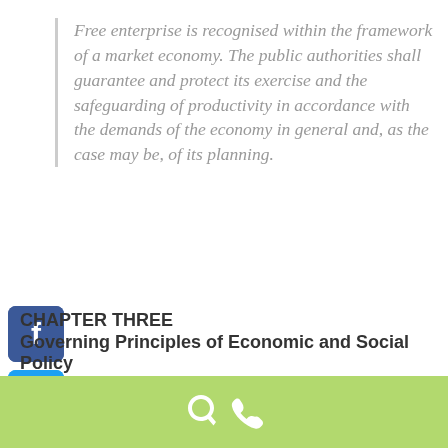Free enterprise is recognised within the framework of a market economy. The public authorities shall guarantee and protect its exercise and the safeguarding of productivity in accordance with the demands of the economy in general and, as the case may be, of its planning.
CHAPTER THREE
Governing Principles of Economic and Social Policy
Article 39
1. The public authorities shall ensure the social, economic and legal protection of